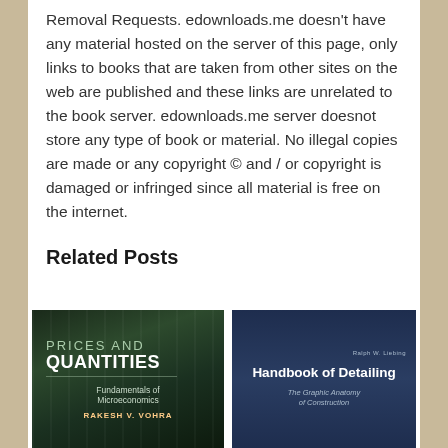Removal Requests. edownloads.me doesn't have any material hosted on the server of this page, only links to books that are taken from other sites on the web are published and these links are unrelated to the book server. edownloads.me server doesnot store any type of book or material. No illegal copies are made or any copyright © and / or copyright is damaged or infringed since all material is free on the internet.
Related Posts
[Figure (photo): Book cover: PRICES AND QUANTITIES - Fundamentals of Microeconomics by RAKESH V. VOHRA, dark forest background]
[Figure (photo): Book cover: Handbook of Detailing - The Graphic Anatomy of Construction, dark navy blue background]